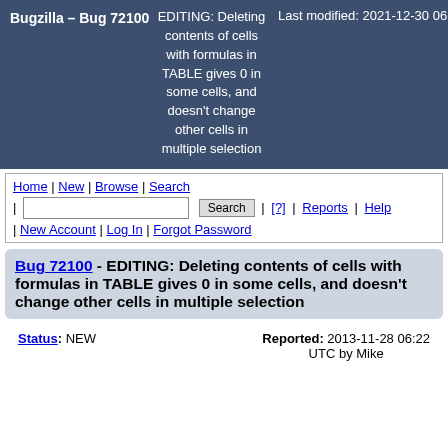Bugzilla – Bug 72100 | EDITING: Deleting contents of cells with formulas in TABLE gives 0 in some cells, and doesn't change other cells in multiple selection | Last modified: 2021-12-30 06:15:01 UTC
Home | New | Browse | Search | [Search box] | Search | [?] | Reports | Help | New Account | Log In | Forgot Password
Bug 72100 - EDITING: Deleting contents of cells with formulas in TABLE gives 0 in some cells, and doesn't change other cells in multiple selection
Status: NEW   Reported: 2013-11-28 06:22 UTC by Mike